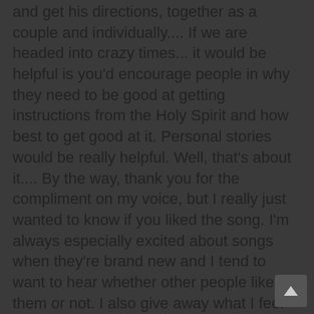and get his directions, together as a couple and individually.... If we are headed into crazy times... it would be helpful is you'd encourage people in why they need to be good at getting instructions from the Holy Spirit and how best to get good at it. Personal stories would be really helpful. Well, that's about it.... By the way, thank you for the compliment on my voice, but I really just wanted to know if you liked the song. I'm always especially excited about songs when they're brand new and I tend to want to hear whether other people like them or not. I also give away what I feel the Lord calls me to give... if you like my type of worship music you can download it free from my myspace... http://www.myspace.com/someonesingi ng